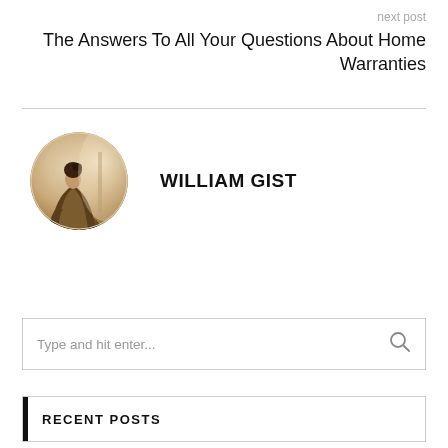next post
The Answers To All Your Questions About Home Warranties
[Figure (photo): Circular avatar photo of William Gist, a person seen from behind in warm tones against a light background]
WILLIAM GIST
Type and hit enter...
RECENT POSTS